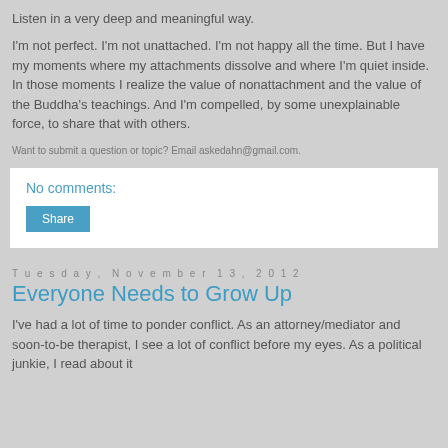Listen in a very deep and meaningful way.
I'm not perfect. I'm not unattached. I'm not happy all the time. But I have my moments where my attachments dissolve and where I'm quiet inside. In those moments I realize the value of nonattachment and the value of the Buddha's teachings. And I'm compelled, by some unexplainable force, to share that with others.
Want to submit a question or topic? Email askedahn@gmail.com.
No comments:
Share
Tuesday, November 13, 2012
Everyone Needs to Grow Up
I've had a lot of time to ponder conflict. As an attorney/mediator and soon-to-be therapist, I see a lot of conflict before my eyes. As a political junkie, I read about it